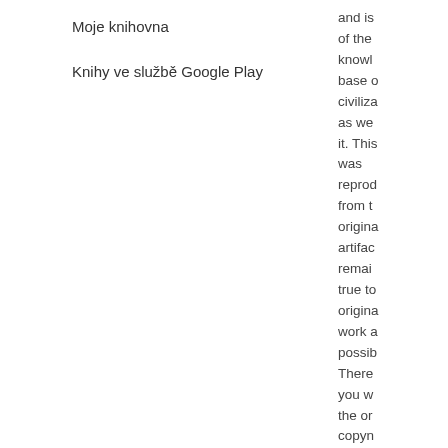Moje knihovna
Knihy ve službě Google Play
and is of the knowl base o civiliza as we it. This was reprod from t origina artifac remai true to origina work a possib There you w the or copyn refere library